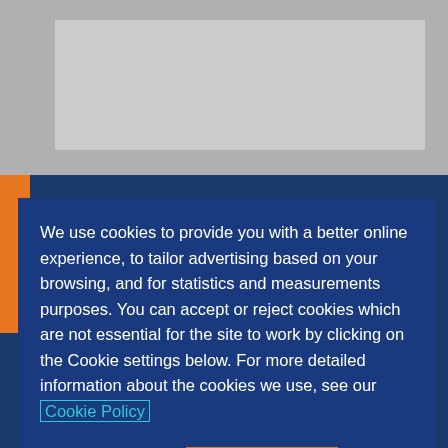[Figure (screenshot): Website screenshot background showing a dark blue page with gray banner at top and orange accent strip on left side]
We use cookies to provide you with a better online experience, to tailor advertising based on your browsing, and for statistics and measurements purposes. You can accept or reject cookies which are not essential for the site to work by clicking on the Cookie settings below. For more detailed information about the cookies we use, see our Cookie Policy
Cookie settings
ACCEPT
Discover how this Med student got into GEM in their mid-thirties after a career in finance and without a science background.